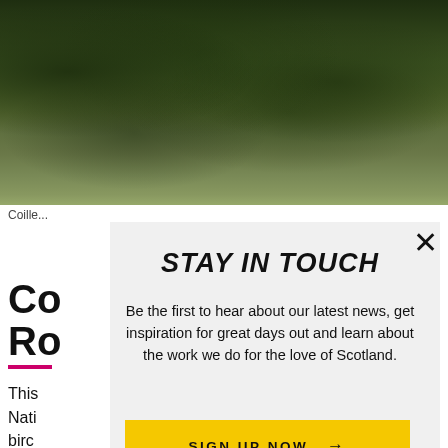[Figure (photo): Aerial/landscape view of Scottish forest/moorland with dense green tree cover]
Coille...
Co
Ro
This... Nati... birc... features. The hanging wood that clings to the gorge side has a wide range of tree species including birch, hazel, aspen, sessile oak, rowan, wych elm and guelder rose. It’s also rich in woodland plants including wood
STAY IN TOUCH
Be the first to hear about our latest news, get inspiration for great days out and learn about the work we do for the love of Scotland.
SIGN UP NOW →